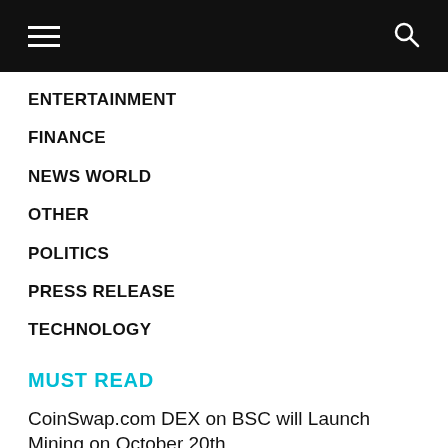Navigation bar with hamburger menu and search icon
ENTERTAINMENT
FINANCE
NEWS WORLD
OTHER
POLITICS
PRESS RELEASE
TECHNOLOGY
MUST READ
CoinSwap.com DEX on BSC will Launch Mining on October 20th
The world's first BNC-based exchange…